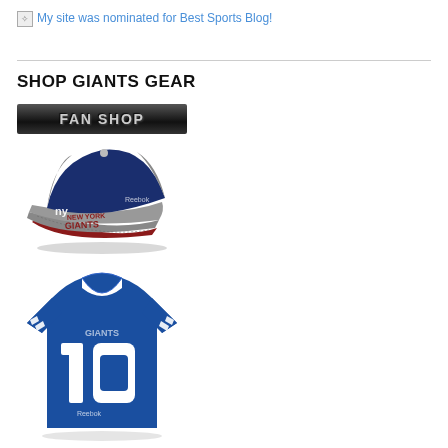My site was nominated for Best Sports Blog!
SHOP GIANTS GEAR
[Figure (illustration): Fan Shop button — dark gradient background with metallic 'FAN SHOP' text]
[Figure (photo): New York Giants Reebok fitted cap, gray brim with navy blue top panel, red brim underside, NY Giants logo]
[Figure (photo): New York Giants blue Reebok #10 football jersey]